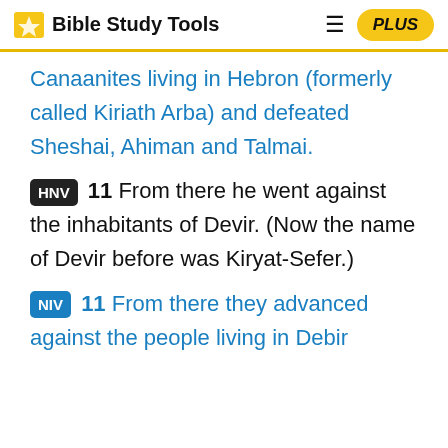Bible Study Tools | PLUS
Canaanites living in Hebron (formerly called Kiriath Arba) and defeated Sheshai, Ahiman and Talmai.
HNV 11 From there he went against the inhabitants of Devir. (Now the name of Devir before was Kiryat-Sefer.)
NIV 11 From there they advanced against the people living in Debir